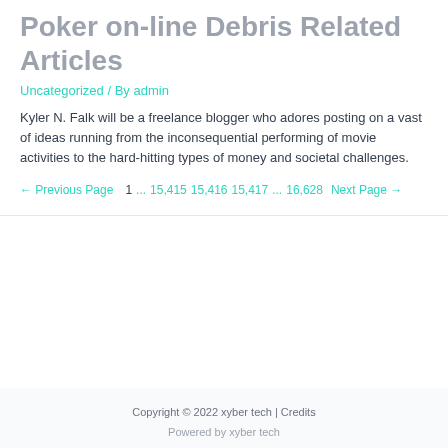Poker on-line Debris Related Articles
Uncategorized / By admin
Kyler N. Falk will be a freelance blogger who adores posting on a vast of ideas running from the inconsequential performing of movie activities to the hard-hitting types of money and societal challenges.
← Previous Page    1  ...  15,415  15,416  15,417  ...  16,628  Next Page →
Copyright © 2022 xyber tech | Credits
Powered by xyber tech